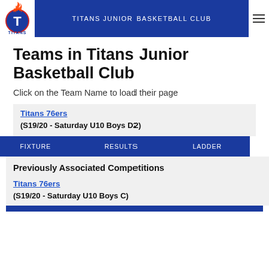TITANS JUNIOR BASKETBALL CLUB
Teams in Titans Junior Basketball Club
Click on the Team Name to load their page
Titans 76ers
(S19/20 - Saturday U10 Boys D2)
FIXTURE   RESULTS   LADDER
Previously Associated Competitions
Titans 76ers
(S19/20 - Saturday U10 Boys C)